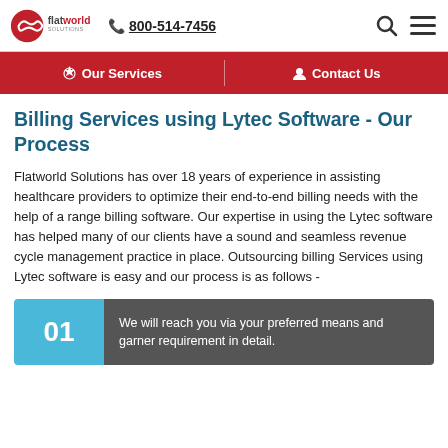flatworld solutions | 800-514-7456
Our Services | Contact Us
Billing Services using Lytec Software - Our Process
Flatworld Solutions has over 18 years of experience in assisting healthcare providers to optimize their end-to-end billing needs with the help of a range billing software. Our expertise in using the Lytec software has helped many of our clients have a sound and seamless revenue cycle management practice in place. Outsourcing billing Services using Lytec software is easy and our process is as follows -
01 - We will reach you via your preferred means and garner requirement in detail.